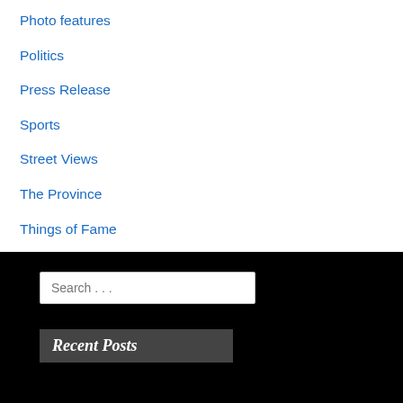Photo features
Politics
Press Release
Sports
Street Views
The Province
Things of Fame
Tributes
Walk on the Wild Side
Wedding Announcements
Search ...
Recent Posts